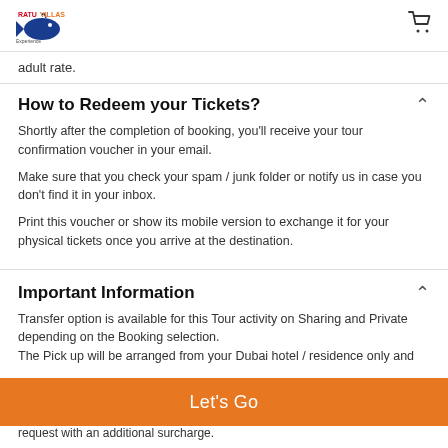Ratu Villas [logo] [cart icon]
adult rate.
How to Redeem your Tickets?
Shortly after the completion of booking, you'll receive your tour confirmation voucher in your email.
Make sure that you check your spam / junk folder or notify us in case you don't find it in your inbox.
Print this voucher or show its mobile version to exchange it for your physical tickets once you arrive at the destination.
Important Information
Transfer option is available for this Tour activity on Sharing and Private depending on the Booking selection.
The Pick up will be arranged from your Dubai hotel / residence only and
request with an additional surcharge.